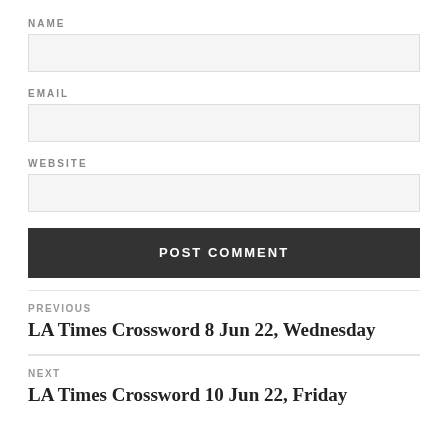NAME
EMAIL
WEBSITE
POST COMMENT
PREVIOUS
LA Times Crossword 8 Jun 22, Wednesday
NEXT
LA Times Crossword 10 Jun 22, Friday